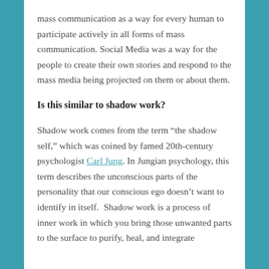mass communication as a way for every human to participate actively in all forms of mass communication. Social Media was a way for the people to create their own stories and respond to the mass media being projected on them or about them.
Is this similar to shadow work?
Shadow work comes from the term “the shadow self,” which was coined by famed 20th-century psychologist Carl Jung. In Jungian psychology, this term describes the unconscious parts of the personality that our conscious ego doesn’t want to identify in itself.  Shadow work is a process of inner work in which you bring those unwanted parts to the surface to purify, heal, and integrate